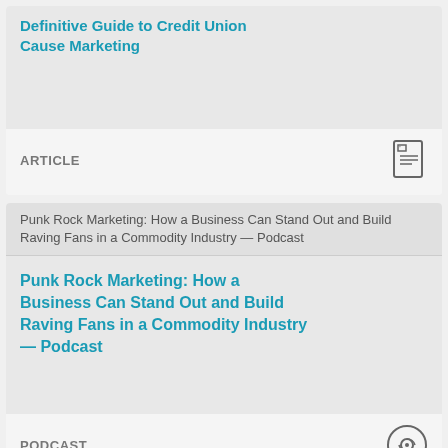Definitive Guide to Credit Union Cause Marketing
ARTICLE
[Figure (screenshot): Thumbnail image placeholder for Punk Rock Marketing podcast article]
Punk Rock Marketing: How a Business Can Stand Out and Build Raving Fans in a Commodity Industry — Podcast
PODCAST